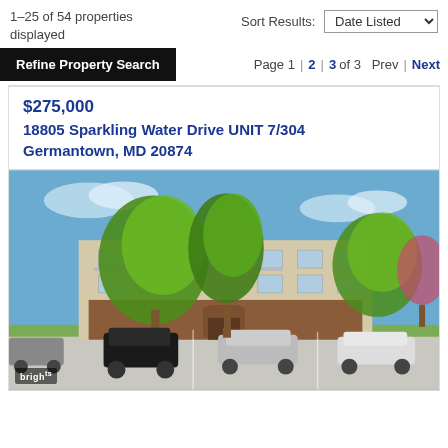1–25 of 54 properties displayed
Sort Results: Date Listed
Refine Property Search
Page 1 | 2 | 3 of 3  Prev | Next
$275,000
18805 Sparkling Water Drive UNIT 7/304
Germantown, MD 20874
[Figure (photo): Exterior photo of a multi-story apartment/condominium building with brick and stucco facade, balconies, and large trees in front. Several cars parked in the foreground parking lot. Blue sky with scattered clouds. Bright watermark logo in bottom-left corner.]